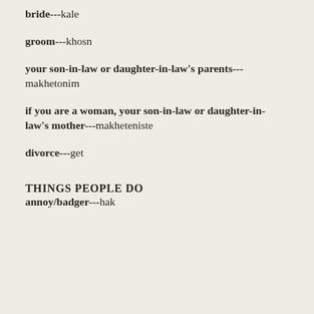bride---kale
groom---khosn
your son-in-law or daughter-in-law's parents---makhetonim
if you are a woman, your son-in-law or daughter-in-law's mother---makheteniste
divorce---get
THINGS PEOPLE DO
annoy/badger---hak